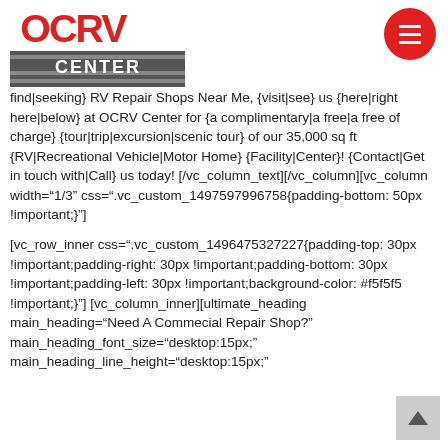[Figure (logo): OCRV Center logo with red stylized letters and striped CENTER banner]
find|seeking} RV Repair Shops Near Me, {visit|see} us {here|right here|below} at OCRV Center for {a complimentary|a free|a free of charge} {tour|trip|excursion|scenic tour} of our 35,000 sq ft {RV|Recreational Vehicle|Motor Home} {Facility|Center}! {Contact|Get in touch with|Call} us today! [/vc_column_text][/vc_column][vc_column width="1/3" css=".vc_custom_1497597996758{padding-bottom: 50px !important;}"]
[vc_row_inner css=".vc_custom_1496475327227{padding-top: 30px !important;padding-right: 30px !important;padding-bottom: 30px !important;padding-left: 30px !important;background-color: #f5f5f5 !important;}"] [vc_column_inner][ultimate_heading main_heading="Need A Commecial Repair Shop?" main_heading_font_size="desktop:15px;" main_heading_line_height="desktop:15px;"